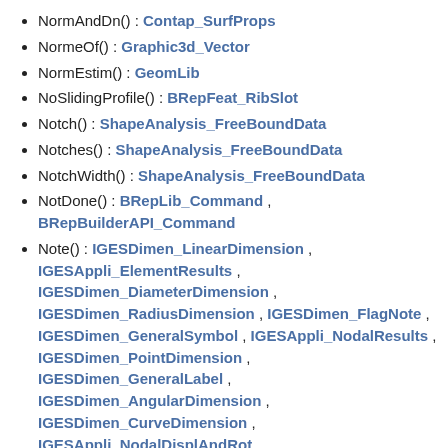NormAndDn() : Contap_SurfProps
NormeOf() : Graphic3d_Vector
NormEstim() : GeomLib
NoSlidingProfile() : BRepFeat_RibSlot
Notch() : ShapeAnalysis_FreeBoundData
Notches() : ShapeAnalysis_FreeBoundData
NotchWidth() : ShapeAnalysis_FreeBoundData
NotDone() : BRepLib_Command , BRepBuilderAPI_Command
Note() : IGESDimen_LinearDimension , IGESAppli_ElementResults , IGESDimen_DiameterDimension , IGESDimen_RadiusDimension , IGESDimen_FlagNote , IGESDimen_GeneralSymbol , IGESAppli_NodalResults , IGESDimen_PointDimension , IGESDimen_GeneralLabel , IGESDimen_AngularDimension , IGESDimen_CurveDimension , IGESAppli_NodalDisplAndRot , IGESDimen_OrdinateDimension
NotUndoMode() : TDF_Data
NotUseDisplayedObjects() : AIS_InteractiveContext